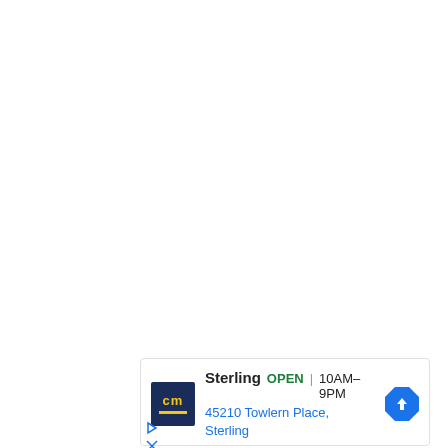[Figure (other): Advertisement card for CM (Canadian Mountain or similar) Sterling store location. Shows logo, store name 'Sterling', open status 'OPEN', hours '10AM-9PM', address '45210 Towlern Place, Sterling', and a blue navigation/directions arrow icon.]
▷ ✕